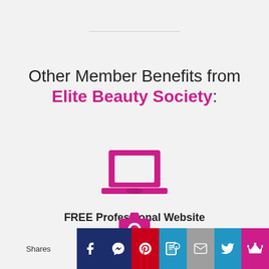Other Member Benefits from Elite Beauty Society:
[Figure (illustration): Pink/magenta laptop computer icon]
FREE Professional Website
[Figure (infographic): Social sharing bar with Facebook, Messenger, Pinterest, SMS, Email, Twitter, Crown icons and Shares label]